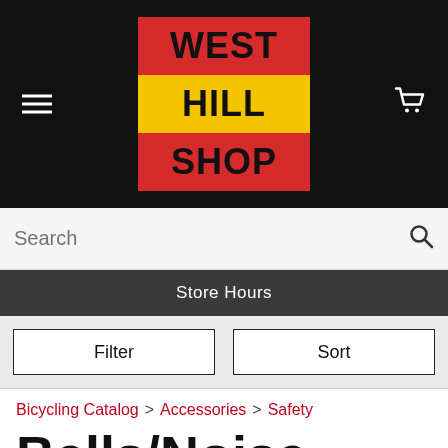[Figure (logo): West Hill Shop logo: red, yellow, red stacked squares with bold black text reading WEST HILL SHOP]
Search
Store Hours
Filter
Sort
Bicycling Catalog > Accessories > Safety
Bells/Noise Makers